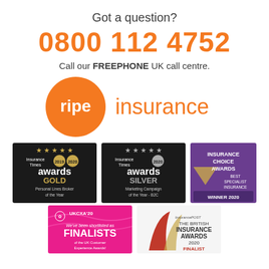Got a question?
0800 112 4752
Call our FREEPHONE UK call centre.
[Figure (logo): Ripe Insurance logo — orange circle with 'ripe' in white text, followed by 'insurance' in orange text]
[Figure (illustration): Insurance Times Awards GOLD 2019 2020 - Personal Lines Broker of the Year badge]
[Figure (illustration): Insurance Times Awards SILVER 2020 - Marketing Campaign of the Year - B2C badge]
[Figure (illustration): Insurance Choice Awards - Best Specialist Insurance Provider - Winner 2020 badge]
[Figure (illustration): UKCXA'20 Finalists - UK Customer Experience Awards badge]
[Figure (illustration): InsurancePost The British Insurance Awards 2020 Finalist badge]